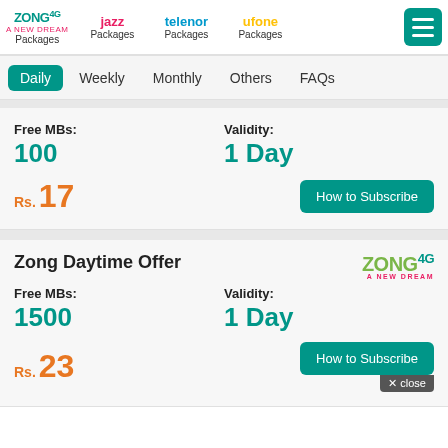Zong 4G Packages | Jazz Packages | Telenor Packages | Ufone Packages
Daily | Weekly | Monthly | Others | FAQs
Free MBs: 100  Validity: 1 Day  Rs. 17  How to Subscribe
Zong Daytime Offer  Free MBs: 1500  Validity: 1 Day  Rs. 23  How to Subscribe